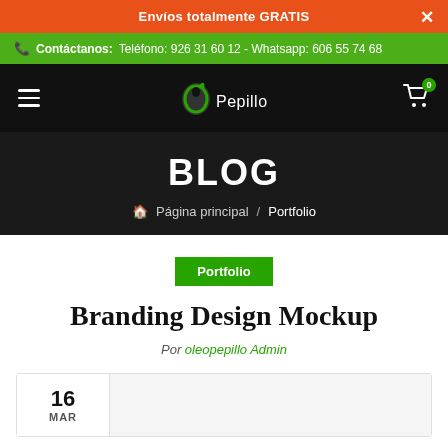Envíos totalmente GRATIS  ×
Contáctanos: Teléfono: 926 31 60 12 - Whatsapp: 606 55 74 68
Pepillo [logo] [hamburger menu] [cart 0]
BLOG
🏠 Página principal / Portfolio
Portfolio
Branding Design Mockup
Por oleopepillo Admin
16 MAR